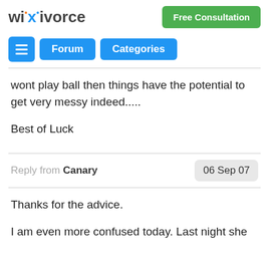wikivorce | Free Consultation | Forum | Categories
wont play ball then things have the potential to get very messy indeed.....
Best of Luck
Reply from Canary | 06 Sep 07
Thanks for the advice.
I am even more confused today. Last night she